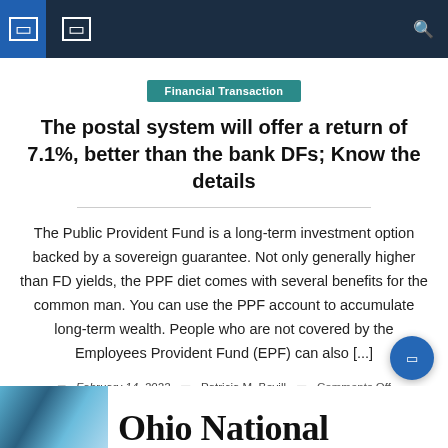Navigation bar with icons and search
Financial Transaction
The postal system will offer a return of 7.1%, better than the bank DFs; Know the details
The Public Provident Fund is a long-term investment option backed by a sovereign guarantee. Not only generally higher than FD yields, the PPF diet comes with several benefits for the common man. You can use the PPF account to accumulate long-term wealth. People who are not covered by the Employees Provident Fund (EPF) can also [...]
February 14, 2022  Patricia M. Bevill  Comments Off
[Figure (photo): Ohio National - partial image of logo/banner at bottom of page]